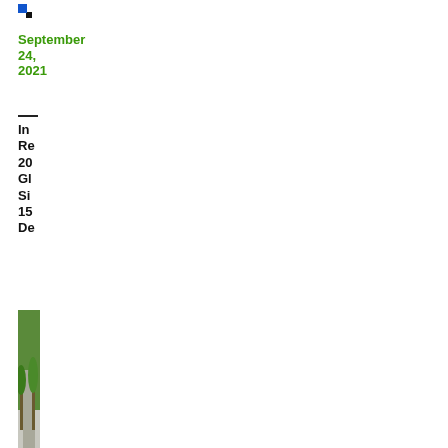[Figure (logo): Small blue and dark square logo mark]
September 24, 2021
In
Re
20
Gl
Si
15
De
[Figure (photo): Partial photo of a tree-lined road, cropped on the right side]
The
GM